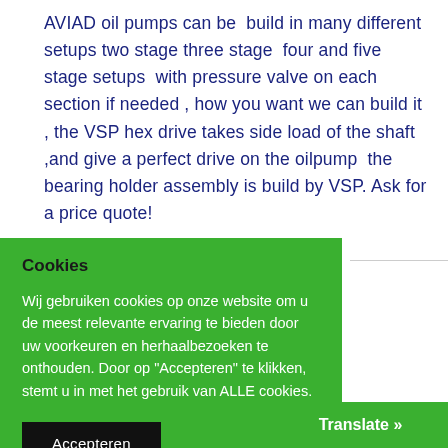AVIAD oil pumps can be build in many different setups two stage three stage four and five stage setups with pressure valve on each section if needed , how you want we can build it , the VSP hex drive takes side load of the shaft ,and give a perfect drive on the oilpump the bearing holder assembly is build by VSP. Ask for a price quote!
Cookies
Wij gebruiken cookies op onze website om u de meest relevante ervaring te bieden door uw voorkeuren en herhaalbezoeken te onthouden. Door op "Accepteren" te klikken, stemt u in met het gebruik van ALLE cookies.
Accepteren
Translate »